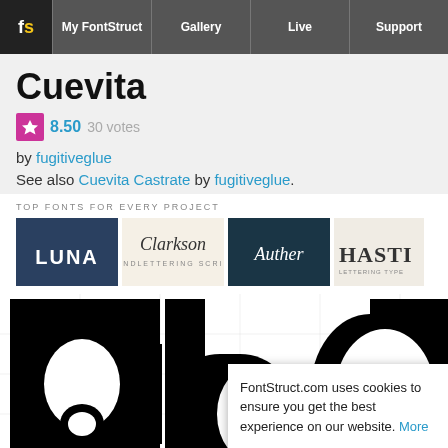FontStruct navigation: My FontStruct | Gallery | Live | Support
Cuevita
8.50 30 votes
by fugitiveglue
See also Cuevita Castrate by fugitiveglue.
TOP FONTS FOR EVERY PROJECT
[Figure (illustration): Ad banner with four font previews: LUNA (dark background), Clarkson (script on cream), Auther (script on dark teal), Hasti (serif on cream)]
[Figure (illustration): Large black font preview showing bold block letters of Cuevita font, partially visible]
FontStruct.com uses cookies to ensure you get the best experience on our website. More
Got it